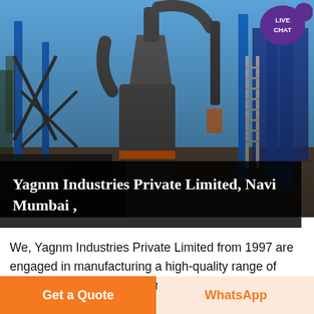[Figure (photo): Industrial grinding/milling machine equipment with blue steel framework, pipes, cylinders, and machinery outdoors under a clear blue sky]
Yagnm Industries Private Limited, Navi Mumbai ,
We, Yagnm Industries Private Limited from 1997 are engaged in manufacturing a high-quality range of Industrial Blenders and Grinding Machin Offered products range
Get a Quote
WhatsApp